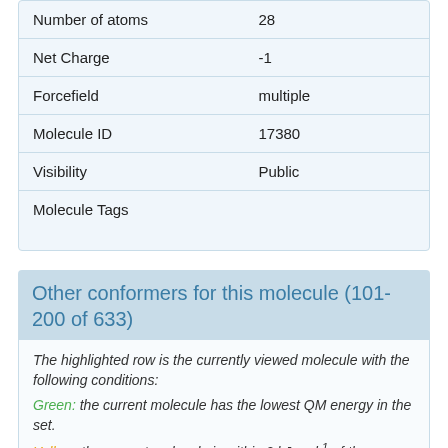| Property | Value |
| --- | --- |
| Number of atoms | 28 |
| Net Charge | -1 |
| Forcefield | multiple |
| Molecule ID | 17380 |
| Visibility | Public |
| Molecule Tags |  |
Other conformers for this molecule (101-200 of 633)
The highlighted row is the currently viewed molecule with the following conditions: Green: the current molecule has the lowest QM energy in the set. Yellow: the current molecule is within 2 kJ mol-1 of the